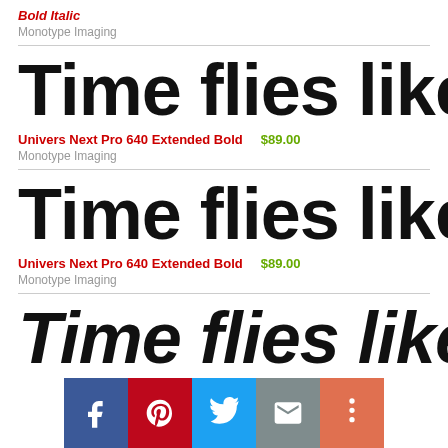Bold Italic
Monotype Imaging
[Figure (illustration): Large bold sans-serif font preview text reading 'Time flies like']
Univers Next Pro 640 Extended Bold   $89.00
Monotype Imaging
[Figure (illustration): Large bold sans-serif font preview text reading 'Time flies like']
Univers Next Pro 640 Extended Bold   $89.00
Monotype Imaging
[Figure (illustration): Large bold italic font preview text reading 'Time flies like' (partially visible)]
[Figure (infographic): Social sharing bar with Facebook, Pinterest, Twitter, email, and more buttons]